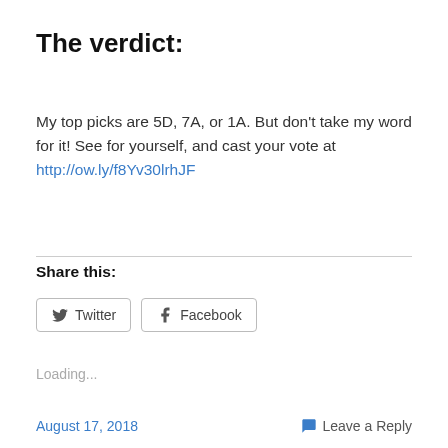The verdict:
My top picks are 5D, 7A, or 1A. But don't take my word for it! See for yourself, and cast your vote at http://ow.ly/f8Yv30lrhJF
Share this:
Loading...
August 17, 2018   Leave a Reply